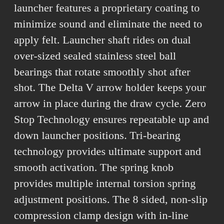launcher features a proprietary coating to minimize sound and eliminate the need to apply felt. Launcher shaft rides on dual over-sized sealed stainless steel ball bearings that rotate smoothly shot after shot. The Delta V arrow holder keeps your arrow in place during the draw cycle. Zero Stop Technology ensures repeatable up and down launcher positions. Tri-bearing technology provides ultimate support and smooth activation. The spring knob provides multiple internal torsion spring adjustment positions. The 8 sided, non-slip compression clamp design with in-line dampening coil eliminates launcher bounce-back. The Easy Glide cord tensioner provides easy cord adjustment. Includes universal non-slip limb pad, heavy duty no-stretch cord and easy adjustment cord clamp. The Universal Limb Clamp assembly can be configured multiple ways: top or bottom limb